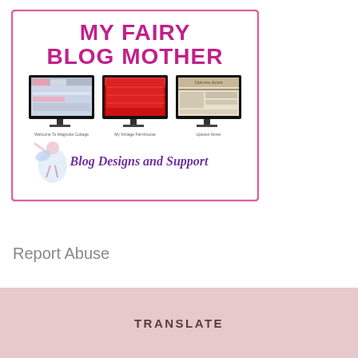[Figure (illustration): My Fairy Blog Mother logo banner with pink border. Title text 'MY FAIRY BLOG MOTHER' in large purple/magenta rounded letters. Three monitor screenshots below showing blog designs labeled 'Welcome To Magnolia Cottage', 'My Vintage Farmhouse', 'Uptown Acorn'. A fairy illustration in lower left. Text 'Blog Designs and Support' in purple italic.]
Report Abuse
TRANSLATE